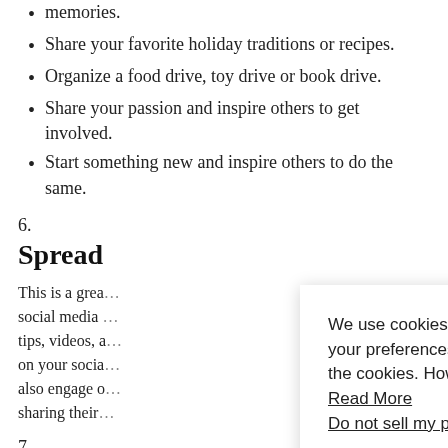memories.
Share your favorite holiday traditions or recipes.
Organize a food drive, toy drive or book drive.
Share your passion and inspire others to get involved.
Start something new and inspire others to do the same.
6.
Spread
This is a great … social media … tips, videos, a … on your socia … also engage o … sharing their …
7.
Change Is As Good As a
We use cookies on our website to give you the most relevant experience by remembering your preferences and repeat visits. By clicking "Accept All", you consent to the use of ALL the cookies. However, you may visit "Cookie Settings" to provide a controlled consent. Read More
Do not sell my personal information